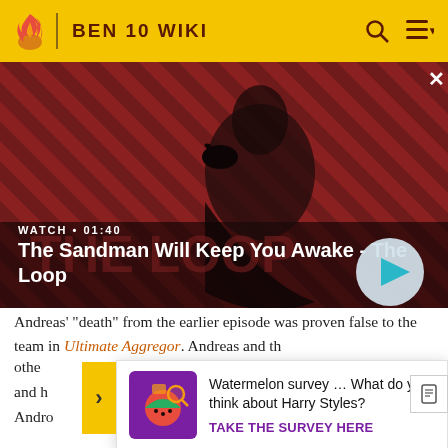BEN 10 WIKI
[Figure (screenshot): Video banner showing a dark-robed figure with a raven on their shoulder against a red diagonal-stripe background. Text overlay reads 'WATCH • 01:40' and 'The Sandman Will Keep You Awake - The Loop' with a play button.]
Andreas' "death" from the earlier episode was proven false to the team in Ultimate Aggregor. Andreas and th othe go.. and h five Andro
[Figure (other): Survey popup advertisement: purple-themed image thumbnail on left, text 'Watermelon survey … What do you think about Harry Styles?' with a 'TAKE THE SURVEY HERE' call-to-action link in purple.]